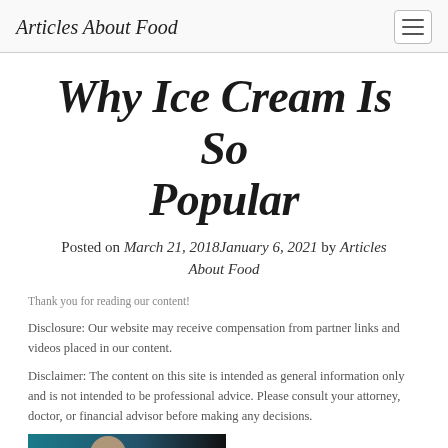Articles About Food
Why Ice Cream Is So Popular
Posted on March 21, 2018January 6, 2021 by Articles About Food
Thank you for reading our content!
Disclosure: Our website may receive compensation from partner links and videos placed in our content.
Disclaimer: The content on this site is intended as general information only and is not intended to be professional advice. Please consult your attorney, doctor, or financial advisor before making any decisions.
[Figure (photo): Photo of a person holding ice cream]
Everyone